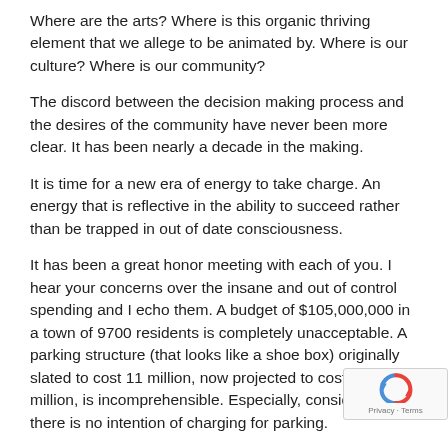Where are the arts? Where is this organic thriving element that we allege to be animated by. Where is our culture? Where is our community?
The discord between the decision making process and the desires of the community have never been more clear. It has been nearly a decade in the making.
It is time for a new era of energy to take charge. An energy that is reflective in the ability to succeed rather than be trapped in out of date consciousness.
It has been a great honor meeting with each of you. I hear your concerns over the insane and out of control spending and I echo them. A budget of $105,000,000 in a town of 9700 residents is completely unacceptable. A parking structure (that looks like a shoe box) originally slated to cost 11 million, now projected to cost 18 million, is incomprehensible. Especially, considering there is no intention of charging for parking.